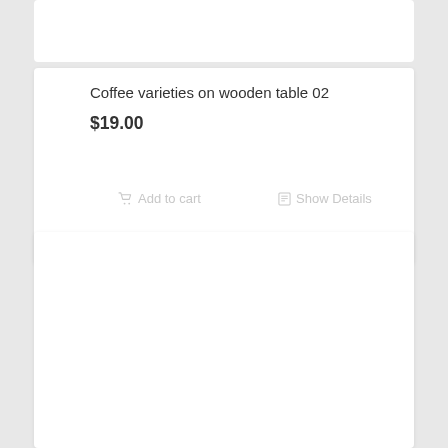Coffee varieties on wooden table 02
$19.00
Add to cart
Show Details